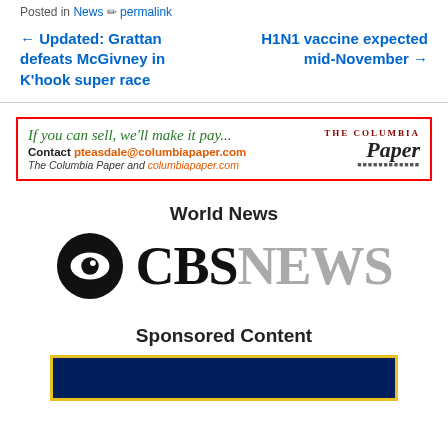Posted in News ✏ permalink
← Updated: Grattan defeats McGivney in K’hook super race
H1N1 vaccine expected mid-November →
[Figure (infographic): The Columbia Paper advertisement: 'If you can sell, we'll make it pay...' with contact info pteasdale@columbiapaper.com and The Columbia Paper logo]
World News
[Figure (logo): CBS News logo with eye symbol]
Sponsored Content
[Figure (illustration): Sponsored content banner with dark blue background and yellow border, partially visible]